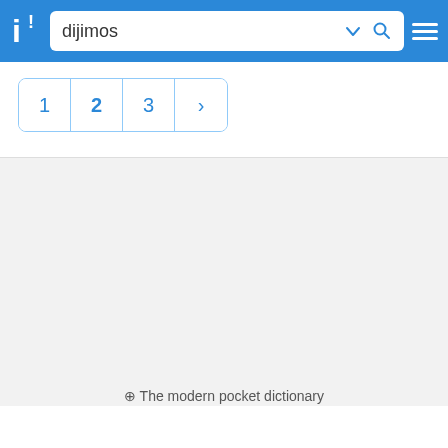dijimos — The modern pocket dictionary
[Figure (screenshot): Pagination control showing pages 1, 2, 3 and a next arrow button]
⊕ The modern pocket dictionary